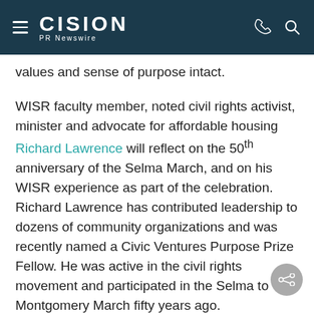CISION PR Newswire
values and sense of purpose intact.
WISR faculty member, noted civil rights activist, minister and advocate for affordable housing Richard Lawrence will reflect on the 50th anniversary of the Selma March, and on his WISR experience as part of the celebration. Richard Lawrence has contributed leadership to dozens of community organizations and was recently named a Civic Ventures Purpose Prize Fellow. He was active in the civil rights movement and participated in the Selma to Montgomery March fifty years ago.